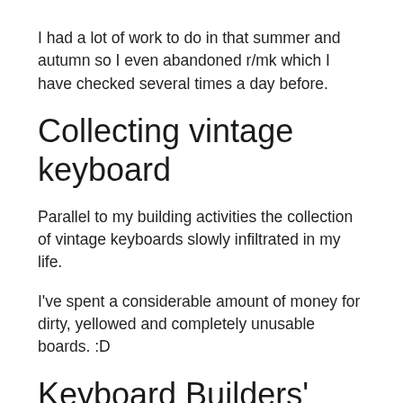I had a lot of work to do in that summer and autumn so I even abandoned r/mk which I have checked several times a day before.
Collecting vintage keyboard
Parallel to my building activities the collection of vintage keyboards slowly infiltrated in my life.
I've spent a considerable amount of money for dirty, yellowed and completely unusable boards. :D
Keyboard Builders' Digest
Checking r/mk in November 2020, I realized this